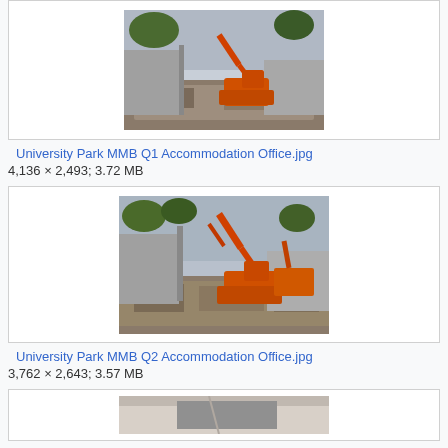[Figure (photo): Construction site with orange excavator demolishing a building, debris visible, trees in background]
University Park MMB Q1 Accommodation Office.jpg
4,136 × 2,493; 3.72 MB
[Figure (photo): Construction site with orange excavator demolishing a building, wider view showing more debris and machinery]
University Park MMB Q2 Accommodation Office.jpg
3,762 × 2,643; 3.57 MB
[Figure (photo): Partial view of another construction/building image, partially cut off at bottom of page]